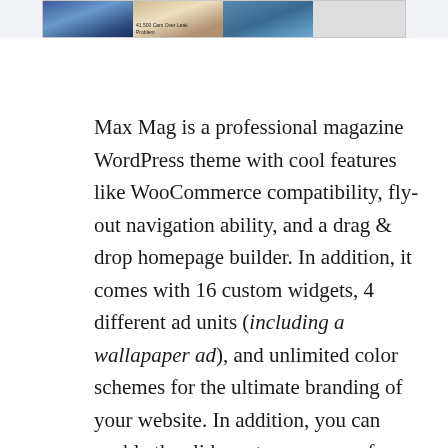[Figure (screenshot): Top strip showing a website magazine layout with article thumbnails and images]
Max Mag is a professional magazine WordPress theme with cool features like WooCommerce compatibility, fly-out navigation ability, and a drag & drop homepage builder. In addition, it comes with 16 custom widgets, 4 different ad units (including a wallapaper ad), and unlimited color schemes for the ultimate branding of your website. In addition, you can enable the slider category pages for displaying recent posts, create teaser headlines so you can feature the breaking news of the day, and upload a custom favicon for brand recognition.
Know that your lightweight theme will always run at optimal speeds thanks to clean code and HTML5 and CSS3 markup. More so, you can easily translate